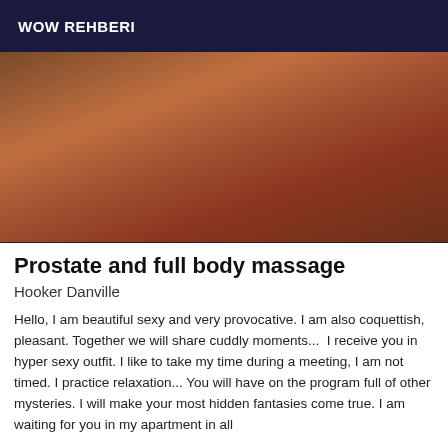WOW REHBERI
[Figure (photo): Close-up photo of a person wearing a pearl necklace and bracelet]
Prostate and full body massage
Hooker Danville
Hello, I am beautiful sexy and very provocative. I am also coquettish, pleasant. Together we will share cuddly moments...  I receive you in hyper sexy outfit. I like to take my time during a meeting, I am not timed. I practice relaxation... You will have on the program full of other mysteries. I will make your most hidden fantasies come true. I am waiting for you in my apartment in all